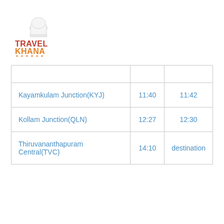[Figure (logo): Travel Khana logo — chef hat icon above text TRAVEL KHANA in red and orange with orange underline dots]
| Kayamkulam Junction(KYJ) | 11:40 | 11:42 |
| Kollam Junction(QLN) | 12:27 | 12:30 |
| Thiruvananthapuram Central(TVC) | 14:10 | destination |